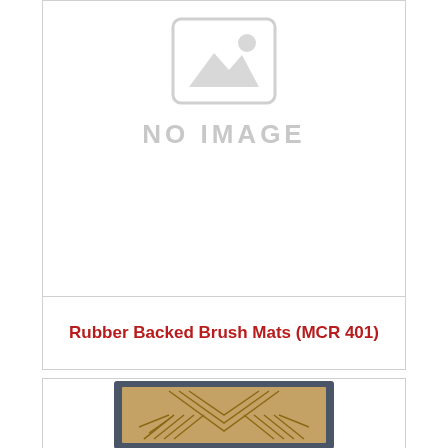[Figure (illustration): Placeholder image icon with mountain/landscape silhouette inside a rounded rectangle, indicating no image is available. Text 'NO IMAGE' displayed below in light gray.]
Rubber Backed Brush Mats (MCR 401)
[Figure (photo): Product photo of a rubber backed brush mat with herringbone/chevron pattern in tan/beige on a dark gray border background.]